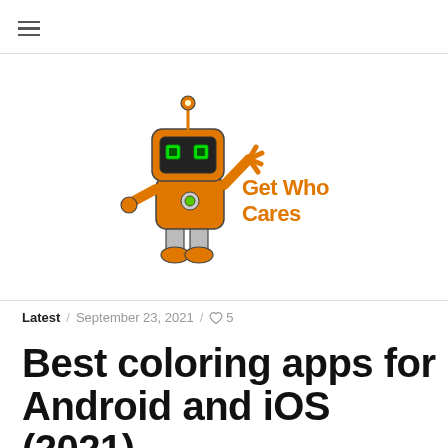☰
[Figure (logo): GetWhoCares website logo featuring an orange cartoon robot mascot waving, with the text 'Get Who Cares' in orange stylized font]
Latest / September 23, 2021 / ♡ 5
Best coloring apps for Android and iOS (2021)